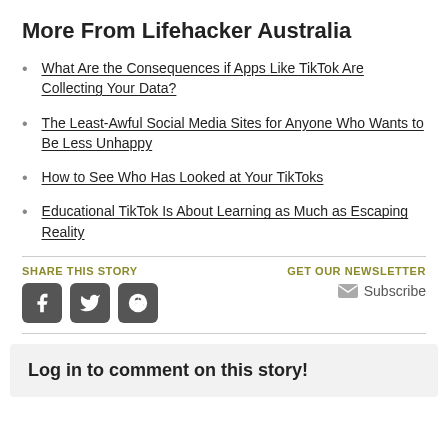More From Lifehacker Australia
What Are the Consequences if Apps Like TikTok Are Collecting Your Data?
The Least-Awful Social Media Sites for Anyone Who Wants to Be Less Unhappy
How to See Who Has Looked at Your TikToks
Educational TikTok Is About Learning as Much as Escaping Reality
SHARE THIS STORY
GET OUR NEWSLETTER
Subscribe
Log in to comment on this story!